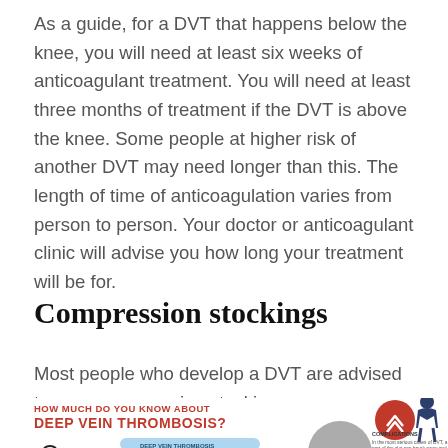As a guide, for a DVT that happens below the knee, you will need at least six weeks of anticoagulant treatment. You will need at least three months of treatment if the DVT is above the knee. Some people at higher risk of another DVT may need longer than this. The length of time of anticoagulation varies from person to person. Your doctor or anticoagulant clinic will advise you how long your treatment will be for.
Compression stockings
Most people who develop a DVT are advised to wear compression stockings.
[Figure (infographic): Partial infographic titled 'HOW MUCH DO YOU KNOW ABOUT DEEP VEIN THROMBOSIS?' with a red circle icon with arrows, a grey circle, a section labeled 'COMPLICATIONS' with text 'In the most serious cases of DVT, a part of the clot can break away and', and a label 'DEEP VEIN THROMBOSIS'. Infographic is cropped at bottom of page.]